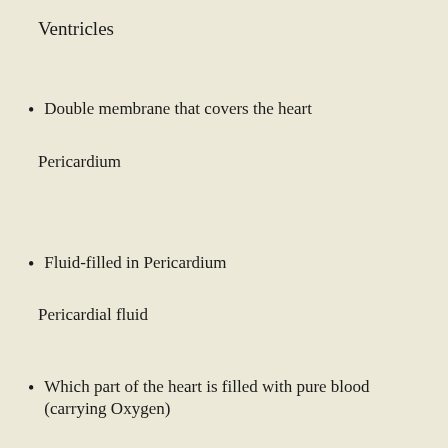Ventricles
Double membrane that covers the heart
Pericardium
Fluid-filled in Pericardium
Pericardial fluid
Which part of the heart is filled with pure blood (carrying Oxygen)